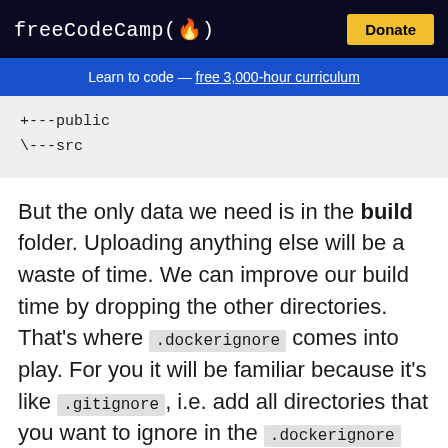freeCodeCamp(🔥)  Donate
Learn to code — free 3,000-hour curriculum
+---public
\---src
But the only data we need is in the build folder. Uploading anything else will be a waste of time. We can improve our build time by dropping the other directories. That's where .dockerignore comes into play. For you it will be familiar because it's like .gitignore, i.e. add all directories that you want to ignore in the .dockerignore file, as shown below: